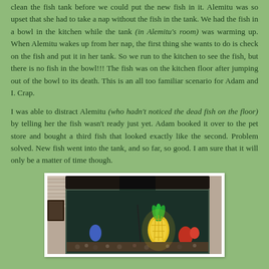clean the fish tank before we could put the new fish in it. Alemitu was so upset that she had to take a nap without the fish in the tank. We had the fish in a bowl in the kitchen while the tank (in Alemitu's room) was warming up. When Alemitu wakes up from her nap, the first thing she wants to do is check on the fish and put it in her tank. So we run to the kitchen to see the fish, but there is no fish in the bowl!!! The fish was on the kitchen floor after jumping out of the bowl to its death. This is an all too familiar scenario for Adam and I. Crap.
I was able to distract Alemitu (who hadn't noticed the dead fish on the floor) by telling her the fish wasn't ready just yet. Adam booked it over to the pet store and bought a third fish that looked exactly like the second. Problem solved. New fish went into the tank, and so far, so good. I am sure that it will only be a matter of time though.
[Figure (photo): A fish tank with a black light/filter on top, illuminated decorations including a glowing pineapple and colorful ornaments inside, placed near window blinds.]